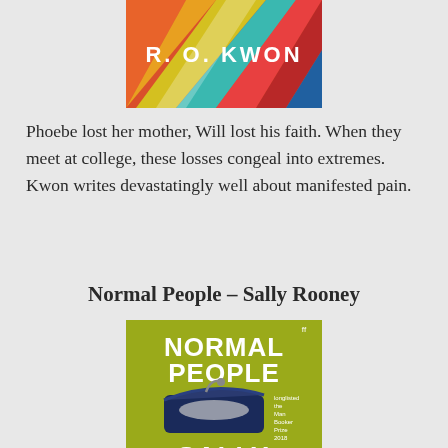[Figure (photo): Top portion of a book cover by R. O. Kwon with colorful diagonal stripes in red, orange, yellow, teal and white, showing the author name 'R. O. KWON' in white text]
Phoebe lost her mother, Will lost his faith. When they meet at college, these losses congeal into extremes. Kwon writes devastatingly well about manifested pain.
Normal People – Sally Rooney
[Figure (photo): Book cover of 'Normal People' by Sally Rooney. Olive/yellow-green background with white bold text 'NORMAL PEOPLE' at top, an illustration of an open sardine tin in navy blue with a fish inside, small text 'longlisted the Man Booker Prize 2018' on right side, and 'SALLY ROONEY' text partially visible at bottom.]